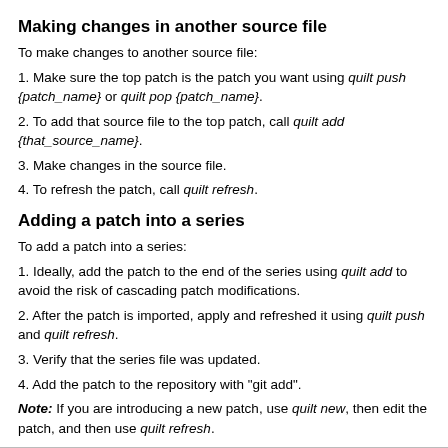Making changes in another source file
To make changes to another source file:
1. Make sure the top patch is the patch you want using quilt push {patch_name} or quilt pop {patch_name}.
2. To add that source file to the top patch, call quilt add {that_source_name}.
3. Make changes in the source file.
4. To refresh the patch, call quilt refresh.
Adding a patch into a series
To add a patch into a series:
1. Ideally, add the patch to the end of the series using quilt add to avoid the risk of cascading patch modifications.
2. After the patch is imported, apply and refreshed it using quilt push and quilt refresh.
3. Verify that the series file was updated.
4. Add the patch to the repository with "git add".
Note: If you are introducing a new patch, use quilt new, then edit the patch, and then use quilt refresh.